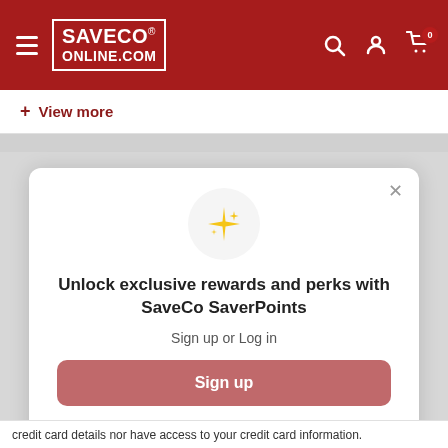[Figure (logo): SaveCo Online.com logo in white on dark red header with hamburger menu, search icon, account icon, and cart icon with badge '0']
+ View more
[Figure (screenshot): Modal popup with sparkle icon, title 'Unlock exclusive rewards and perks with SaveCo SaverPoints', subtitle 'Sign up or Log in', a red Sign up button, and footer text 'Already have an account? Sign in']
credit card details nor have access to your credit card information.